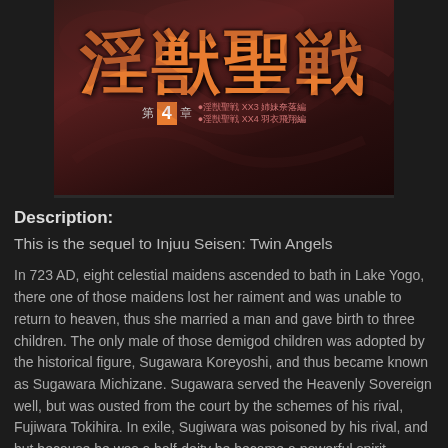[Figure (illustration): Manga/anime cover art showing Japanese characters '淫獣聖戦' in large orange text on a dark background with tentacle-like imagery, with '第4章' subtitle indicating Chapter 4, with additional small text references to 'XX3' and 'XX4' story arcs]
Description:
This is the sequel to Injuu Seisen: Twin Angels
In 723 AD, eight celestial maidens ascended to bath in Lake Yogo, there one of those maidens lost her raiment and was unable to return to heaven, thus she married a man and gave birth to three children. The only male of those demigod children was adopted by the historical figure, Sugawara Koreyoshi, and thus became known as Sugawara Michizane. Sugawara served the Heavenly Sovereign well, but was ousted from the court by the schemes of his rival, Fujiwara Tokihira. In exile, Sugiwara was poisoned by his rival, and but because he was a half-deity he became a powerful spirit, known as Tenjin-sama. Fujiwara Tokihira